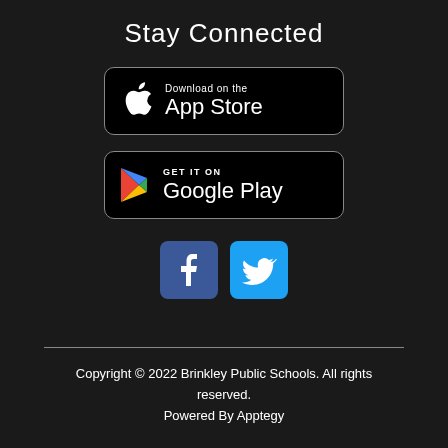Stay Connected
[Figure (logo): Download on the App Store badge - black background with Apple logo, text 'Download on the' and 'App Store']
[Figure (logo): GET IT ON Google Play badge - black background with Google Play triangle logo, text 'GET IT ON' and 'Google Play']
[Figure (logo): Facebook and Twitter social media icon buttons side by side]
Copyright © 2022 Brinkley Public Schools. All rights reserved.
Powered By Apptegy